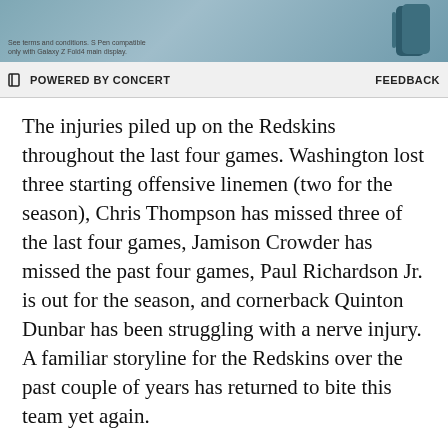[Figure (photo): Cropped advertisement image showing a Samsung Galaxy Z Fold4 device in dark teal color with S Pen, partial view at top of page. Fine print: 'See terms and conditions. S Pen compatible only with Galaxy Z Fold4 main display.']
POWERED BY CONCERT   FEEDBACK
The injuries piled up on the Redskins throughout the last four games. Washington lost three starting offensive linemen (two for the season), Chris Thompson has missed three of the last four games, Jamison Crowder has missed the past four games, Paul Richardson Jr. is out for the season, and cornerback Quinton Dunbar has been struggling with a nerve injury. A familiar storyline for the Redskins over the past couple of years has returned to bite this team yet again.
So for all the good that occurred for the Redskins, a first-place division standing, 2-0 divisional record, and